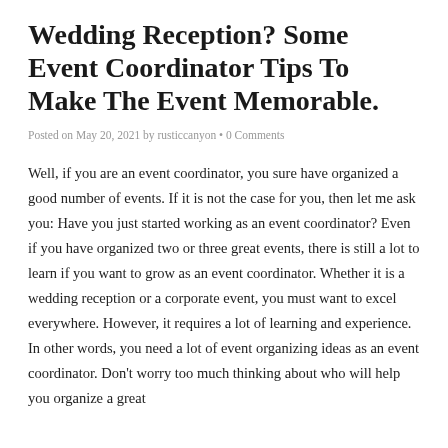Wedding Reception? Some Event Coordinator Tips To Make The Event Memorable.
Posted on May 20, 2021 by rusticcanyon • 0 Comments
Well, if you are an event coordinator, you sure have organized a good number of events. If it is not the case for you, then let me ask you: Have you just started working as an event coordinator? Even if you have organized two or three great events, there is still a lot to learn if you want to grow as an event coordinator. Whether it is a wedding reception or a corporate event, you must want to excel everywhere. However, it requires a lot of learning and experience. In other words, you need a lot of event organizing ideas as an event coordinator. Don't worry too much thinking about who will help you organize a great